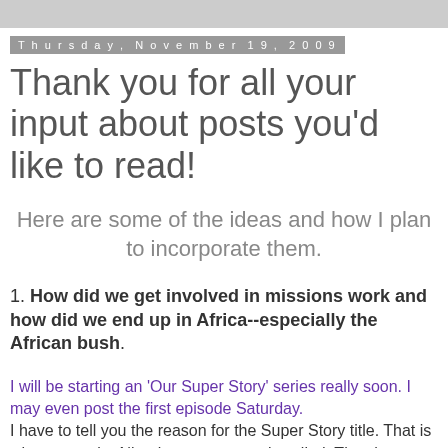Thursday, November 19, 2009
Thank you for all your input about posts you'd like to read!
Here are some of the ideas and how I plan to incorporate them.
1. How did we get involved in missions work and how did we end up in Africa--especially the African bush.
I will be starting an 'Our Super Story' series really soon. I may even post the first episode Saturday. I have to tell you the reason for the Super Story title. That is what a popular Nigerian soap opera is called. They have a